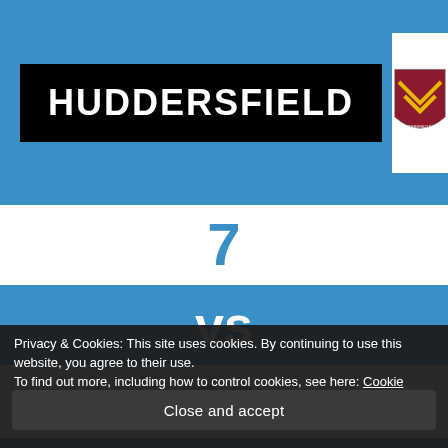HUDDERSFIELD
[Figure (logo): Huddersfield rugby football club crest with maroon and gold chevron on white shield background]
7
vs
28
Privacy & Cookies: This site uses cookies. By continuing to use this website, you agree to their use.
To find out more, including how to control cookies, see here: Cookie Policy
Close and accept